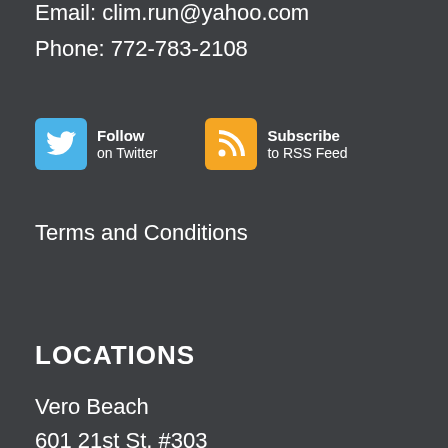Email: clim.run@yahoo.com
Phone: 772-783-2108
[Figure (infographic): Two social media buttons: a Twitter Follow button (blue square with bird icon) and an RSS Subscribe button (orange square with RSS icon)]
Terms and Conditions
LOCATIONS
Vero Beach
601 21st St, #303